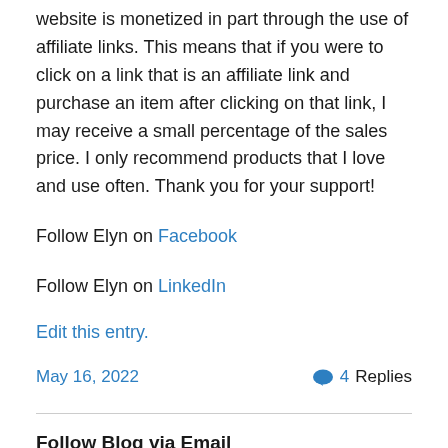website is monetized in part through the use of affiliate links. This means that if you were to click on a link that is an affiliate link and purchase an item after clicking on that link, I may receive a small percentage of the sales price. I only recommend products that I love and use often. Thank you for your support!
Follow Elyn on Facebook
Follow Elyn on LinkedIn
Edit this entry.
May 16, 2022
4 Replies
Follow Blog via Email